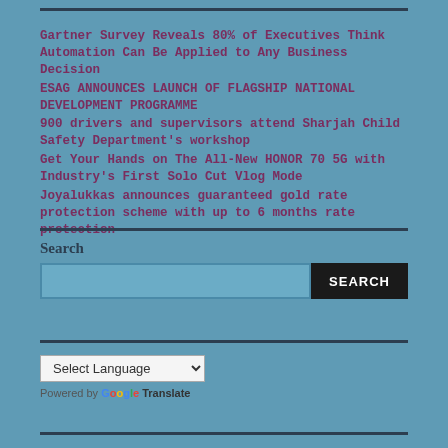Gartner Survey Reveals 80% of Executives Think Automation Can Be Applied to Any Business Decision
ESAG ANNOUNCES LAUNCH OF FLAGSHIP NATIONAL DEVELOPMENT PROGRAMME
900 drivers and supervisors attend Sharjah Child Safety Department's workshop
Get Your Hands on The All-New HONOR 70 5G with Industry's First Solo Cut Vlog Mode
Joyalukkas announces guaranteed gold rate protection scheme with up to 6 months rate protection
Search
SEARCH
Select Language
Powered by Google Translate